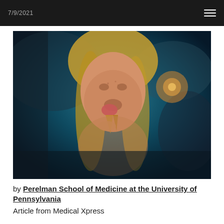7/9/2021
[Figure (photo): Photograph of a young blonde woman eating an ice cream cone, set against a teal/blue bokeh background with warm orange light in upper right]
by Perelman School of Medicine at the University of Pennsylvania
Article from Medical Xpress